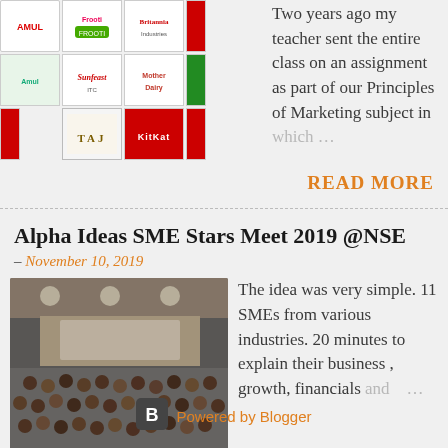[Figure (illustration): Grid of brand logos including Amul, Frooti, Britannia, Sunfeast, Lipton, Mother Dairy, TAJ, Kit Kat and a red strip on the right side]
Two years ago my teacher sent the entire class on an assignment as part of our Principles of Marketing subject in which ...
READ MORE
Alpha Ideas SME Stars Meet 2019 @NSE
– November 10, 2019
[Figure (photo): Photo of a large auditorium or conference hall with many people seated, viewed from the front-left side]
The idea was very simple. 11 SMEs from various industries. 20 minutes to explain their business , growth, financials and ...
READ MORE
Powered by Blogger